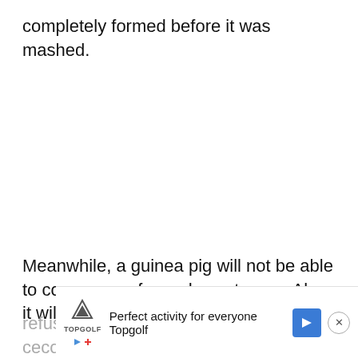completely formed before it was mashed.
Meanwhile, a guinea pig will not be able to consume unformed cecotropes. Also, it will
refus...
ceco...ncy
[Figure (other): Advertisement banner for Topgolf showing logo, tagline 'Perfect activity for everyone', blue direction arrow icon, and close button (X)]